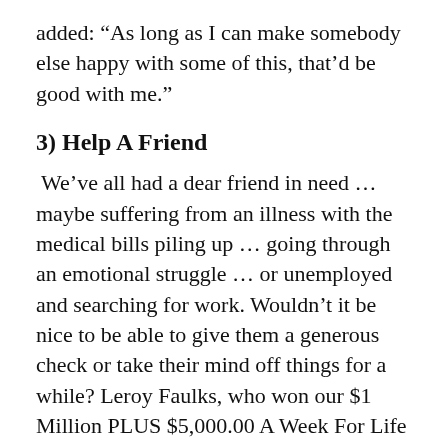added: “As long as I can make somebody else happy with some of this, that’d be good with me.”
3) Help A Friend
We’ve all had a dear friend in need … maybe suffering from an illness with the medical bills piling up … going through an emotional struggle … or unemployed and searching for work. Wouldn’t it be nice to be able to give them a generous check or take their mind off things for a while? Leroy Faulks, who won our $1 Million PLUS $5,000.00 A Week For Life Mega Prize, threw a big party for friends and family to celebrate his 35th wedding anniversary. It was a wonderful and